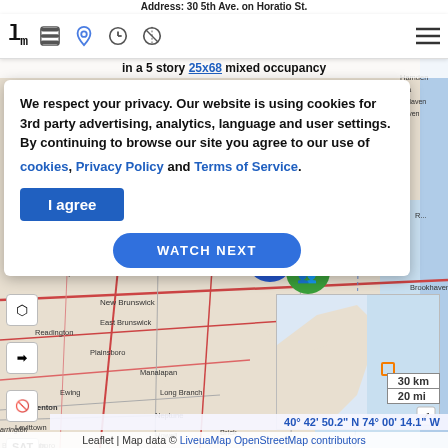Address: 30 5th Ave. on Horatio St.
[Figure (screenshot): LiveuaMap web application navigation bar with logo 'lm', menu icons for layers, location, time, compass, and hamburger menu]
in a 5 story 25x68 mixed occupancy
We respect your privacy. Our website is using cookies for 3rd party advertising, analytics, language and user settings. By continuing to browse our site you agree to our use of cookies, Privacy Policy and Terms of Service.
I agree
WATCH NEXT
[Figure (map): Street map of New Jersey and surrounding area from LiveuaMap/OpenStreetMap, showing cities including Flemington, New Brunswick, East Brunswick, Trenton, Levittown, Willingboro, Toms River, Bayville, Medford, Long Branch, Neptune, Howell, Brick, Woodbridge, Plainsboro, Manalapan, Middletown, Holmdel, Bernards Township, Readington, Ewing, Bensalem, Mount Holly. Map markers visible near coast including blue cluster markers with star and group icons. Mini-map in lower right corner. Scale bar showing 30 km / 20 mi.]
40° 42' 50.2" N 74° 00' 14.1" W
Leaflet | Map data © LiveuaMap OpenStreetMap contributors